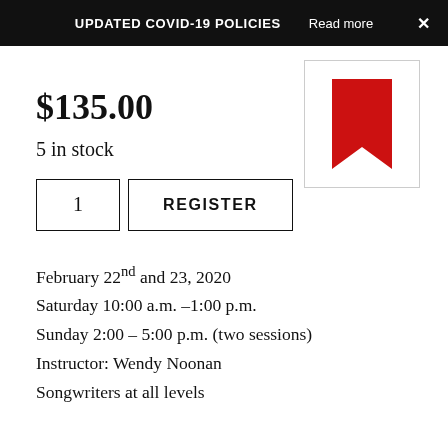UPDATED COVID-19 POLICIES   Read more   ×
$135.00
5 in stock
1   REGISTER
[Figure (illustration): Red bookmark ribbon icon on white background with light gray border]
February 22nd and 23, 2020
Saturday 10:00 a.m. –1:00 p.m.
Sunday 2:00 – 5:00 p.m. (two sessions)
Instructor: Wendy Noonan
Songwriters at all levels